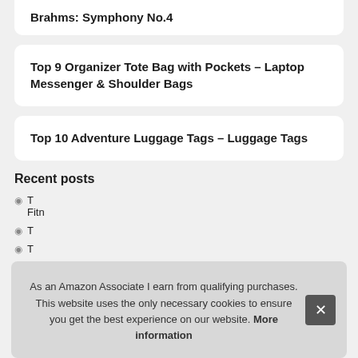Brahms: Symphony No.4
Top 9 Organizer Tote Bag with Pockets – Laptop Messenger & Shoulder Bags
Top 10 Adventure Luggage Tags – Luggage Tags
Recent posts
T… Fitn…
T…
T…
As an Amazon Associate I earn from qualifying purchases. This website uses the only necessary cookies to ensure you get the best experience on our website. More information